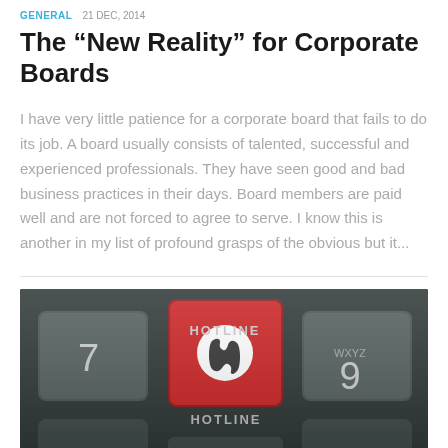GENERAL  21 DEC, 2014
The “New Reality” for Corporate Boards
I have very little patience for a corporate board that fails to do its job. A board usually consists of talented, successful and experienced professionals. They have seen good and bad business practices in their days. Board members are paid well and are not forced to agree to serve. I know this is another in my list of profound grasps of the obvious but it...
[Figure (photo): Close-up photograph of a telephone keypad showing a red HOTLINE button with a phone handset icon, flanked by key 7 on the left and key 9 (WXYZ) on the right, with another HOTLINE label below the red key. The keypad has a dark gray/black background.]